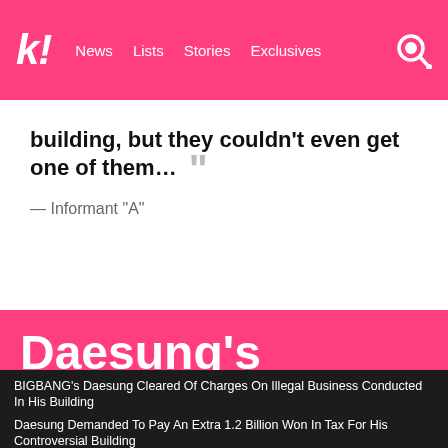k! News Lists Stories Exclusives
building, but they couldn't even get one of them... ””
— Informant “A”
Daesung's Building Scandal
BIGBANG's Daesung Cleared Of Charges On Illegal Business Conducted In His Building
Daesung Demanded To Pay An Extra 1.2 Billion Won In Tax For His Controversial Building